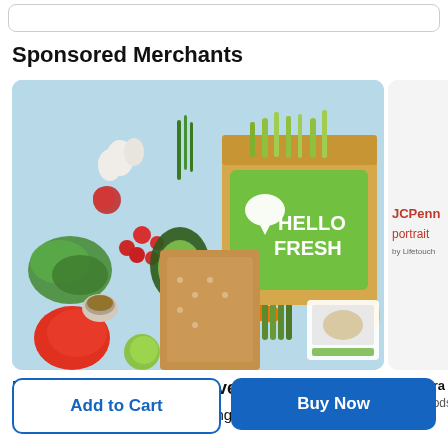Sponsored Merchants
[Figure (photo): HelloFresh meal kit delivery box surrounded by fresh vegetables and ingredients on a blue background]
HelloFresh Meal Kit Deliveries Deals
4.1 ★★★★☆ 22574 Ratings
[Figure (photo): JCPenney portrait by Lifetouch - partial card visible on right side]
Photogra...
Northwoods...
Add to Cart
Buy Now